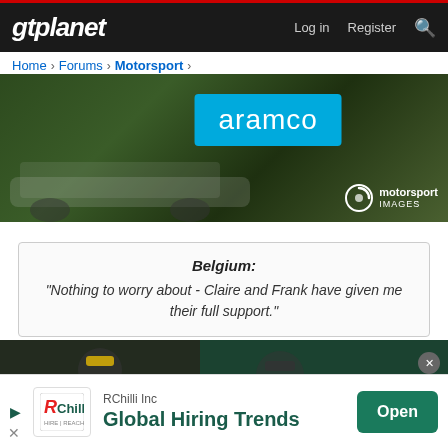gtplanet | Log in  Register
Home > Forums > Motorsport >
[Figure (photo): Formula 1 racing car on grass with Aramco advertising board and motorsport images watermark]
Belgium: "Nothing to worry about - Claire and Frank have given me their full support."
[Figure (photo): Two racing drivers on podium celebrating with Pirelli caps and face masks, spraying champagne]
[Figure (other): RChilli Inc advertisement banner - Global Hiring Trends with Open button]